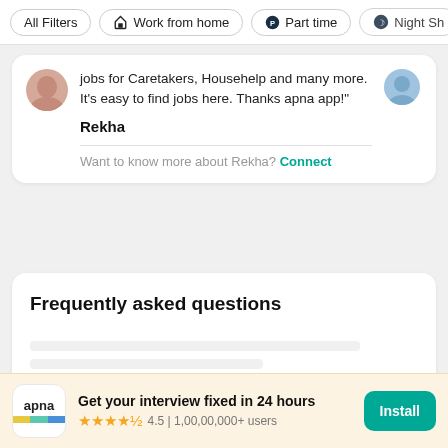All Filters | Work from home | Part time | Night Sh
jobs for Caretakers, Househelp and many more. It's easy to find jobs here. Thanks apna app!"
Rekha
Want to know more about Rekha? Connect
Frequently asked questions
Get your interview fixed in 24 hours
4.5 | 1,00,00,000+ users